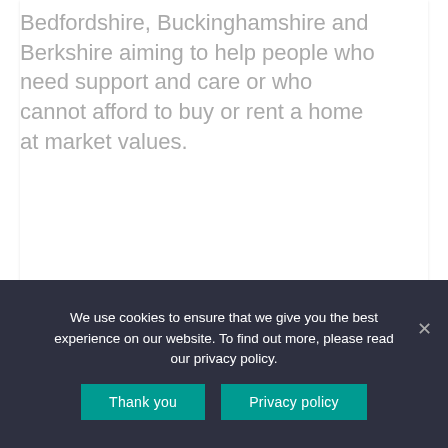Bedfordshire, Buckinghamshire and Berkshire aiming to help people who need support and care or who cannot afford to buy or rent a home at market values.
SEE DETAILS →
We use cookies to ensure that we give you the best experience on our website. To find out more, please read our privacy policy.
Thank you
Privacy policy